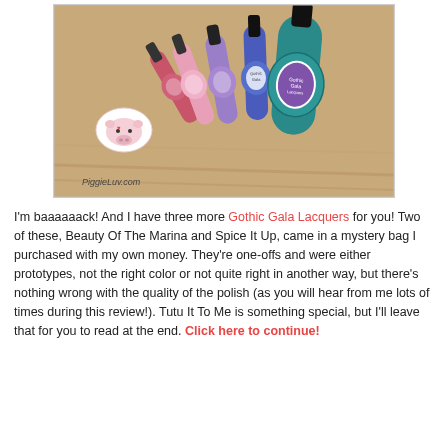[Figure (photo): A row of Gothic Gala Lacquers nail polish bottles arranged on a wooden surface, with a decorative piggy sticker in the lower left corner. Text reads PiggieLuv.com.]
I'm baaaaaack! And I have three more Gothic Gala Lacquers for you! Two of these, Beauty Of The Marina and Spice It Up, came in a mystery bag I purchased with my own money. They're one-offs and were either prototypes, not the right color or not quite right in another way, but there's nothing wrong with the quality of the polish (as you will hear from me lots of times during this review!). Tutu It To Me is something special, but I'll leave that for you to read at the end. Click here to continue!